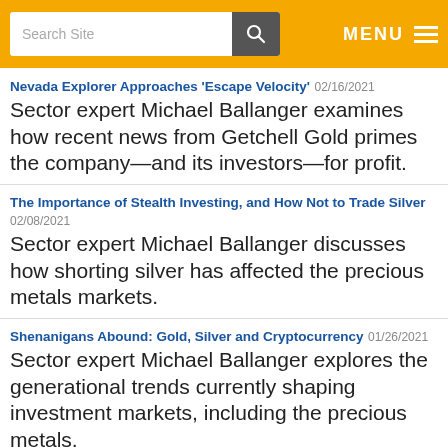Search Site | MENU
Nevada Explorer Approaches 'Escape Velocity' 02/16/2021
Sector expert Michael Ballanger examines how recent news from Getchell Gold primes the company—and its investors—for profit.
The Importance of Stealth Investing, and How Not to Trade Silver 02/08/2021
Sector expert Michael Ballanger discusses how shorting silver has affected the precious metals markets.
Shenanigans Abound: Gold, Silver and Cryptocurrency 01/26/2021
Sector expert Michael Ballanger explores the generational trends currently shaping investment markets, including the precious metals.
Divide and Conquer, American-Style, the Dollar and Precious